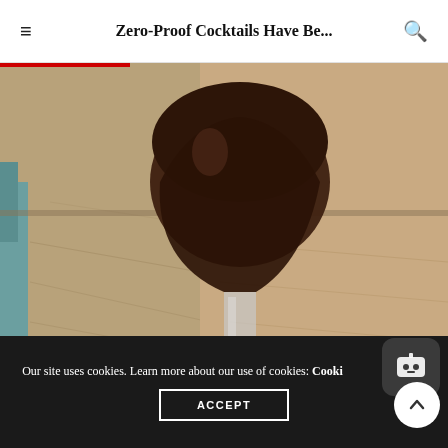Zero-Proof Cocktails Have Be...
[Figure (photo): Close-up photo of a dark brown cocktail in a rounded goblet glass sitting on a light wooden table surface. The glass has a wide bowl, a short stem, and a disc-like base. The background shows wood grain texture.]
The Penrose modeled one of their non-alcoholic options after the tropical drink emoji. It features cold-brewed coffee, passion fruit puree, orgeat, lemon juice, and then gets served over pebble ice.  Photo courtesy of the Penrose.
Our site uses cookies. Learn more about our use of cookies: Cookie
ACCEPT